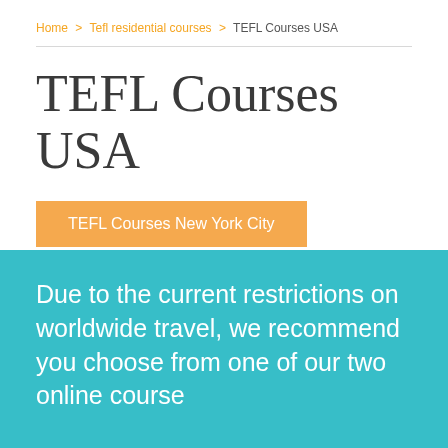Home > Tefl residential courses > TEFL Courses USA
TEFL Courses USA
TEFL Courses New York City
Due to the current restrictions on worldwide travel, we recommend you choose from one of our two online course